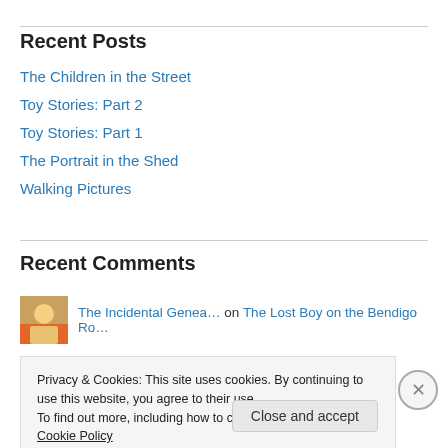Recent Posts
The Children in the Street
Toy Stories: Part 2
Toy Stories: Part 1
The Portrait in the Shed
Walking Pictures
Recent Comments
The Incidental Genea… on The Lost Boy on the Bendigo Ro…
Privacy & Cookies: This site uses cookies. By continuing to use this website, you agree to their use.
To find out more, including how to control cookies, see here: Cookie Policy
Close and accept